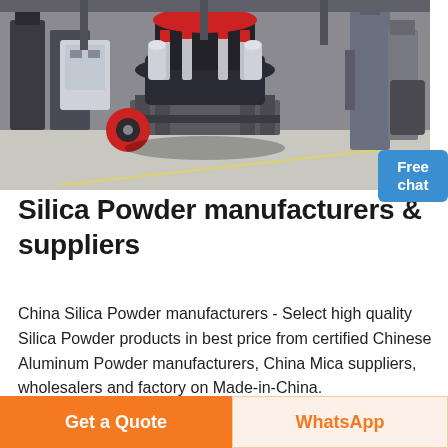[Figure (photo): Industrial factory floor showing a large cone crusher or similar heavy mining/quarrying machine with red and black components, hydraulic cylinders, and industrial equipment in a manufacturing plant setting.]
Silica Powder manufacturers & suppliers
China Silica Powder manufacturers - Select high quality Silica Powder products in best price from certified Chinese Aluminum Powder manufacturers, China Mica suppliers, wholesalers and factory on Made-in-China.
Get a Quote
WhatsApp